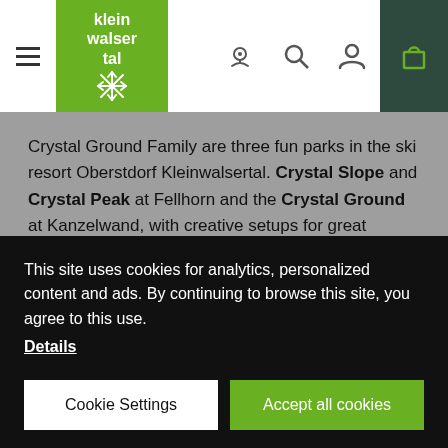[Figure (screenshot): Navigation bar with hamburger menu, Kleinwalsertal logo (green background), webcam icon, search icon, user icon, and green bag/cart icon on dark background.]
Crystal Ground Family are three fun parks in the ski resort Oberstdorf Kleinwalsertal. Crystal Slope and Crystal Peak at Fellhorn and the Crystal Ground at Kanzelwand, with creative setups for great funpark-moments.
More information
This site uses cookies for analytics, personalized content and ads. By continuing to browse this site, you agree to this use.
Details
Cookie Settings
Accept all cookies